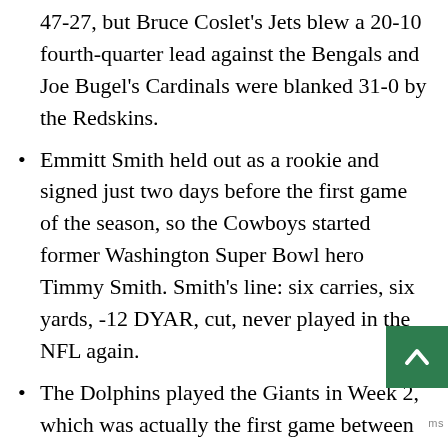47-27, but Bruce Coslet's Jets blew a 20-10 fourth-quarter lead against the Bengals and Joe Bugel's Cardinals were blanked 31-0 by the Redskins.
Emmitt Smith held out as a rookie and signed just two days before the first game of the season, so the Cowboys started former Washington Super Bowl hero Timmy Smith. Smith's line: six carries, six yards, -12 DYAR, cut, never played in the NFL again.
The Dolphins played the Giants in Week 2, which was actually the first game between these teams since 1972. The Giants had finished fifth three times when the old schedule rotation had the top four teams in the AFC East and NFC East playing each other the next season. The other time the AFC East and NFC East played each other was 1987, and the Giants-Dolphins game was in Week 3, the